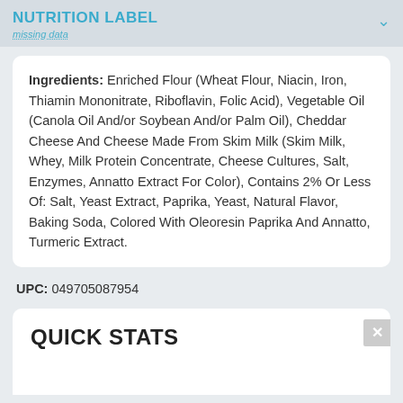NUTRITION LABEL / missing data
Ingredients: Enriched Flour (Wheat Flour, Niacin, Iron, Thiamin Mononitrate, Riboflavin, Folic Acid), Vegetable Oil (Canola Oil And/or Soybean And/or Palm Oil), Cheddar Cheese And Cheese Made From Skim Milk (Skim Milk, Whey, Milk Protein Concentrate, Cheese Cultures, Salt, Enzymes, Annatto Extract For Color), Contains 2% Or Less Of: Salt, Yeast Extract, Paprika, Yeast, Natural Flavor, Baking Soda, Colored With Oleoresin Paprika And Annatto, Turmeric Extract.
UPC: 049705087954
QUICK STATS